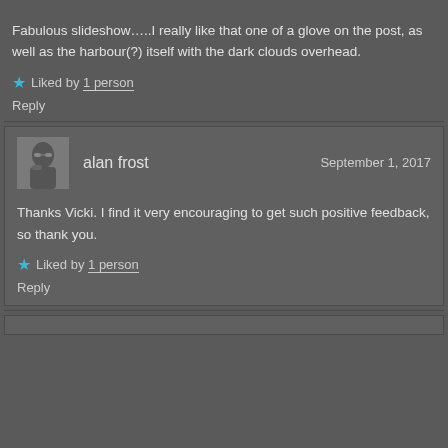Fabulous slideshow…..I really like that one of a glove on the post, as well as the harbour(?) itself with the dark clouds overhead.
★ Liked by 1 person
Reply
alan frost  September 1, 2017
Thanks Vicki. I find it very encouraging to get such positive feedback, so thank you.
★ Liked by 1 person
Reply